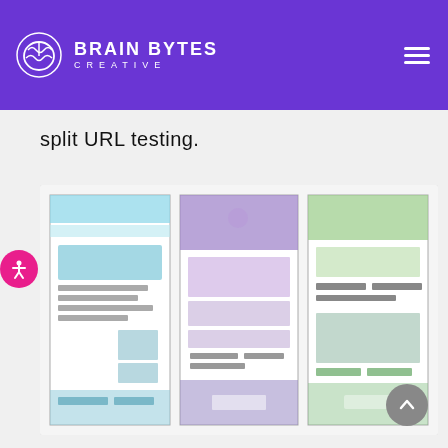Brain Bytes Creative
split URL testing.
[Figure (illustration): Three watercolor-style wireframe mockups of website layouts shown side by side. The left one uses blue/cyan colors, the middle one uses purple/violet tones, and the right one uses green/mint tones. Each shows a simplified web page structure with header, content blocks, and image placeholders drawn in a hand-sketched style.]
[Figure (other): Round pink/magenta accessibility icon button with a person figure, positioned on the left edge.]
[Figure (other): Round dark gray scroll-to-top button with an upward chevron arrow, positioned at the bottom right.]